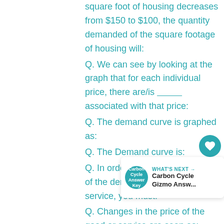square foot of housing decreases from $150 to $100, the quantity demanded of the square footage of housing will:
Q. We can see by looking at the graph that for each individual price, there are/is __________ associated with that price:
Q. The demand curve is graphed as:
Q. The Demand curve is:
Q. In order to be considered part of the demand for a good or service, you must:
Q. Changes in the price of the good or service are seen as:
Q. There is __________ relationship between price and quantity demanded.
Q. A recession in the economy affects household incomes. As a result, people take fewer vacations. This is an example of